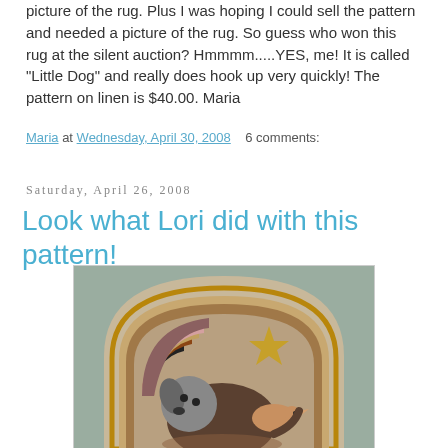picture of the rug. Plus I was hoping I could sell the pattern and needed a picture of the rug. So guess who won this rug at the silent auction? Hmmmm.....YES, me! It is called "Little Dog" and really does hook up very quickly! The pattern on linen is $40.00. Maria
Maria at Wednesday, April 30, 2008   6 comments:
Saturday, April 26, 2008
Look what Lori did with this pattern!
[Figure (photo): A hooked rug featuring a dog design inside an arched oval frame. The rug shows a small dog (black and white) with a bird, stars, and rainbow/fan shapes in earth tones — browns, oranges, tans, and grays on a muted background.]